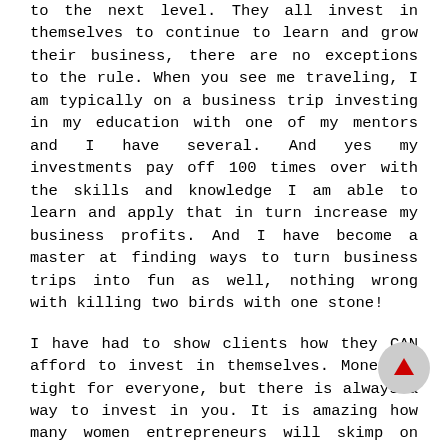to the next level. They all invest in themselves to continue to learn and grow their business, there are no exceptions to the rule. When you see me traveling, I am typically on a business trip investing in my education with one of my mentors and I have several. And yes my investments pay off 100 times over with the skills and knowledge I am able to learn and apply that in turn increase my business profits. And I have become a master at finding ways to turn business trips into fun as well, nothing wrong with killing two birds with one stone!
I have had to show clients how they CAN afford to invest in themselves. Money is tight for everyone, but there is always a way to invest in you. It is amazing how many women entrepreneurs will skimp on education to increase their bank accounts for elaborate vacations, designer clothes and shoes and useless spending on non-income generating items.